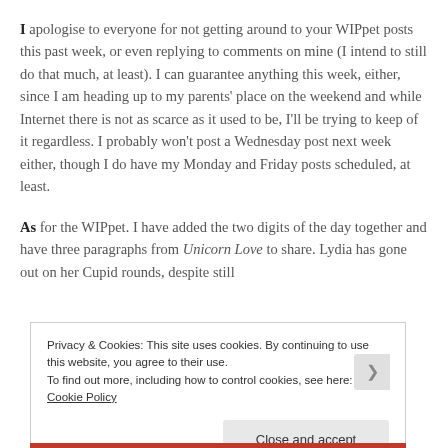I apologise to everyone for not getting around to your WIPpet posts this past week, or even replying to comments on mine (I intend to still do that much, at least). I can guarantee anything this week, either, since I am heading up to my parents' place on the weekend and while Internet there is not as scarce as it used to be, I'll be trying to keep of it regardless. I probably won't post a Wednesday post next week either, though I do have my Monday and Friday posts scheduled, at least.
As for the WIPpet. I have added the two digits of the day together and have three paragraphs from Unicorn Love to share. Lydia has gone out on her Cupid rounds, despite still
Privacy & Cookies: This site uses cookies. By continuing to use this website, you agree to their use.
To find out more, including how to control cookies, see here: Cookie Policy